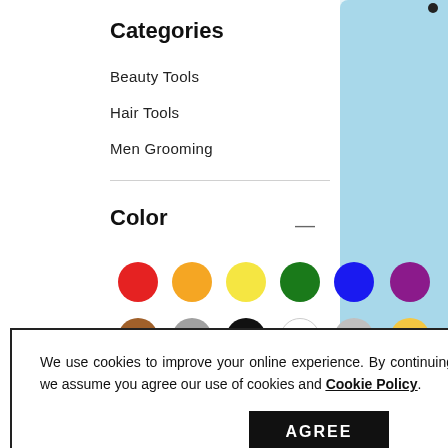Categories
Beauty Tools
Hair Tools
Men Grooming
Color
[Figure (infographic): Color filter swatches: two rows of 6 circles (red, orange, yellow, green, blue, purple; brown, gray, black, white, silver, gold) and one circle (pink)]
[Figure (photo): Light blue hair tool product image on right side]
We use cookies to improve your online experience. By continuing browsing this website, we assume you agree our use of cookies and Cookie Policy.
AGREE